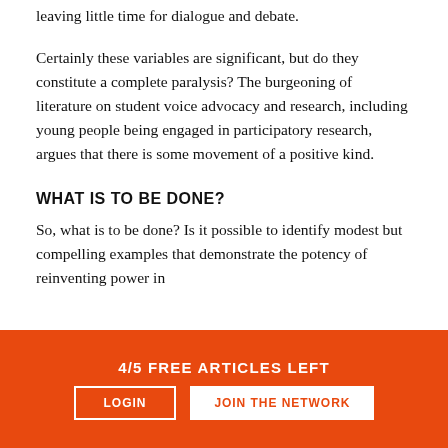leaving little time for dialogue and debate.
Certainly these variables are significant, but do they constitute a complete paralysis? The burgeoning of literature on student voice advocacy and research, including young people being engaged in participatory research, argues that there is some movement of a positive kind.
WHAT IS TO BE DONE?
So, what is to be done? Is it possible to identify modest but compelling examples that demonstrate the potency of reinventing power in
4/5 FREE ARTICLES LEFT
LOGIN
JOIN THE NETWORK